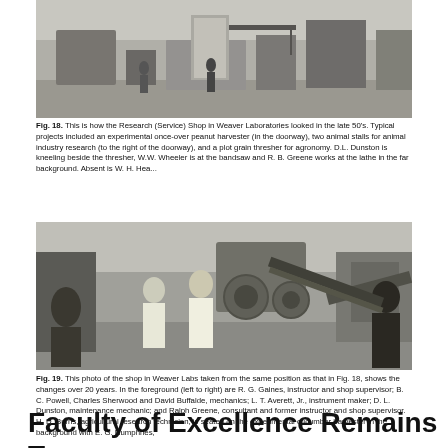[Figure (photo): Black and white photo of the Research (Service) Shop in Weaver Laboratories in the late 1950s, showing an experimental peanut harvester, animal stalls, and a plot grain thresher with workers at machinery.]
Fig. 18.   This is how the Research (Service) Shop in Weaver Laboratories looked in the late 50's. Typical projects included an experimental once-over peanut harvester (in the doorway), two animal stalls for animal industry research (to the right of the doorway), and a plot grain thresher for agronomy. D.L. Dunston is kneeling beside the thresher, W.W. Wheeler is at the bandsaw and R. B. Greene works at the lathe in the far background. Absent is W. H. Hea...
[Figure (photo): Black and white photo of the shop in Weaver Labs taken from the same position as Fig. 18, showing the shop 20 years later with people in the foreground including R. G. Gaines, B. C. Powell, Charles Sherwood, David Buffalde, L. T. Averett Jr., D. L. Dunston, Ralph Greene, and H. D. Burns seated on a cucumber harvester.]
Fig. 19.  This photo of the shop in Weaver Labs taken from the same position as that in Fig. 18, shows the changes over 20 years. In the foreground (left to right) are R. G. Gaines, instructor and shop supervisor; B. C. Powell, Charles Sherwood and David Buffalde, mechanics; L. T. Averett, Jr., instrument maker; D. L. Dunston, maintenance mechanic; and Ralph Greene, consultant and former instructor and shop supervisor. H. D. Burns, agricultural research technician, is seated on the experimental cucumber harvester in the background with E. G. Humphries,
Faculty of Excellence Remains Top Priority